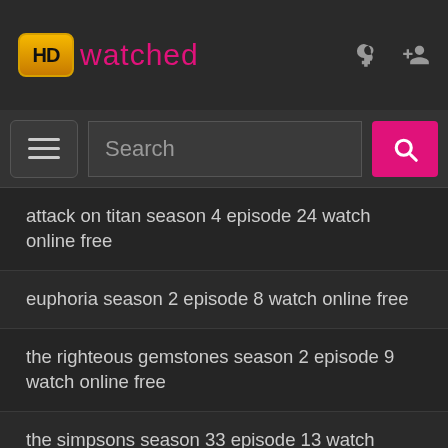HD watched
[Figure (screenshot): Navigation bar with hamburger menu and search input field with pink search button]
attack on titan season 4 episode 24 watch online free
euphoria season 2 episode 8 watch online free
the righteous gemstones season 2 episode 9 watch online free
the simpsons season 33 episode 13 watch online free
how i met your father season 1 episode 8 watch online free
snowpiercer season 3 episode 6 watch online free
the cleaning lady season 1 episode 8 watch online